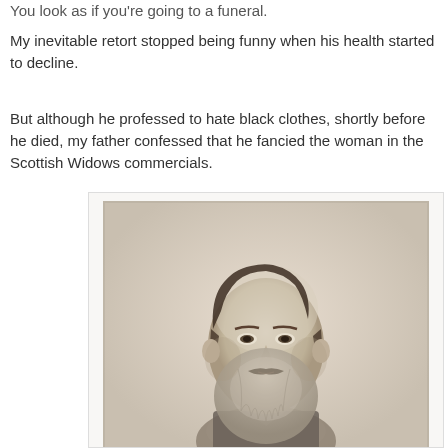You look as if you’re going to a funeral.
My inevitable retort stopped being funny when his health started to decline.
But although he professed to hate black clothes, shortly before he died, my father confessed that he fancied the woman in the Scottish Widows commercials.
[Figure (photo): Sepia-toned vintage portrait photograph of a middle-aged man with a full beard and receding hair, wearing dark clothing, formal Victorian-era portrait style.]